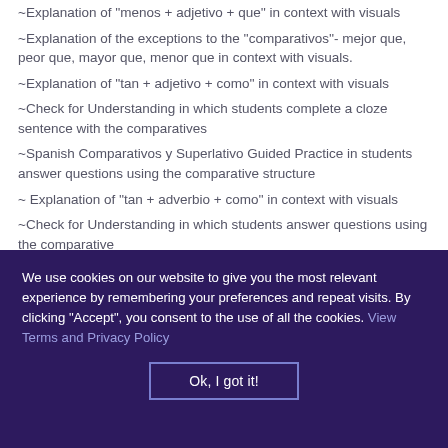~Explanation of  ''menos + adjetivo + que'' in context with visuals
~Explanation of the exceptions to the ''comparativos''- mejor que, peor que, mayor que, menor que in context with visuals.
~Explanation of ''tan + adjetivo + como'' in context with visuals
~Check for Understanding in which students complete a cloze sentence with the comparatives
~Spanish Comparativos y Superlativo Guided Practice in students answer questions using the comparative structure
~ Explanation of ''tan + adverbio + como'' in context with visuals
~Check for Understanding in which students answer questions using the comparative
~Spanish Comparativos y Superlativo Practice in which students describe the subjects using the comparative
We use cookies on our website to give you the most relevant experience by remembering your preferences and repeat visits. By clicking "Accept", you consent to the use of all the cookies. View Terms and Privacy Policy
Ok, I got it!